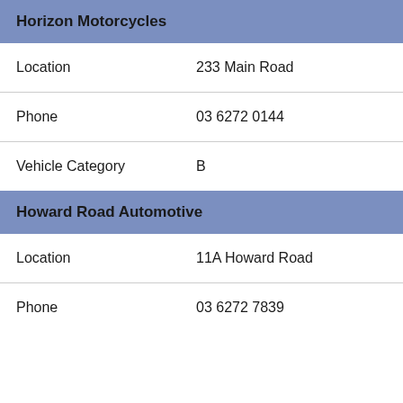Horizon Motorcycles
| Field | Value |
| --- | --- |
| Location | 233 Main Road |
| Phone | 03 6272 0144 |
| Vehicle Category | B |
Howard Road Automotive
| Field | Value |
| --- | --- |
| Location | 11A Howard Road |
| Phone | 03 6272 7839 |